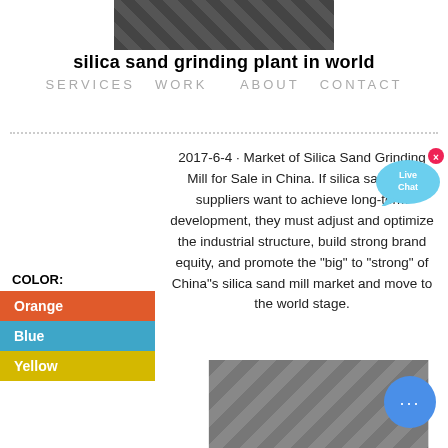[Figure (photo): Industrial machinery/grinding plant equipment photo at top]
silica sand grinding plant in world
SERVICES   WORK     ABOUT   CONTACT
2017-6-4 · Market of Silica Sand Grinding Mill for Sale in China. If silica sand mill suppliers want to achieve long-term development, they must adjust and optimize the industrial structure, build strong brand equity, and promote the "big" to "strong" of China"s silica sand mill market and move to the world stage.
[Figure (other): Live Chat speech bubble widget overlay]
COLOR:
Orange
Blue
Yellow
[Figure (photo): Industrial silo/tank equipment photo at bottom]
[Figure (other): Blue circular chat button with ellipsis icon]